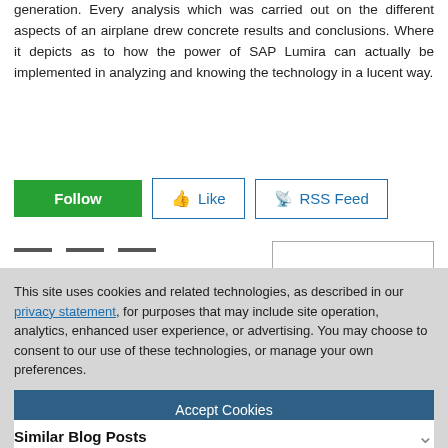generation. Every analysis which was carried out on the different aspects of an airplane drew concrete results and conclusions. Where it depicts as to how the power of SAP Lumira can actually be implemented in analyzing and knowing the technology in a lucent way.
[Figure (screenshot): Follow button (green), Like button (blue outline with thumbs up icon), RSS Feed button (blue outline with RSS icon)]
This site uses cookies and related technologies, as described in our privacy statement, for purposes that may include site operation, analytics, enhanced user experience, or advertising. You may choose to consent to our use of these technologies, or manage your own preferences.
Accept Cookies
More Information
Privacy Policy | Powered by: TrustArc
Similar Blog Posts